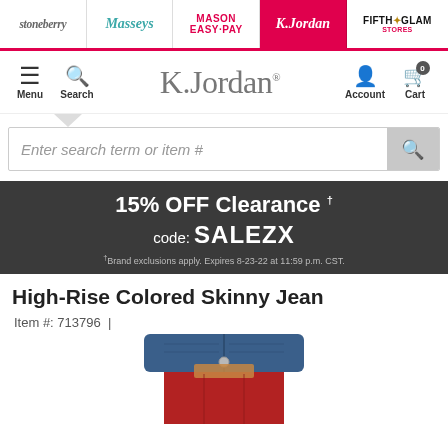stoneberry | Masseys | MASON EASY-PAY | K.Jordan | FIFTH GLAM
[Figure (logo): K.Jordan website navigation header with Menu, Search, K.Jordan logo, Account, Cart icons]
Enter search term or item #
15% OFF Clearance
code: SALEZX
†Brand exclusions apply. Expires 8-23-22 at 11:59 p.m. CST.
High-Rise Colored Skinny Jean
Item #: 713796 |
[Figure (photo): Woman wearing a blue denim jacket and red high-rise skinny jeans, cropped view of torso and hips]